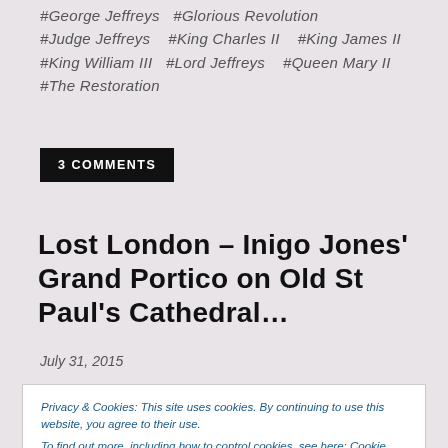#George Jeffreys  #Glorious Revolution  #Judge Jeffreys  #King Charles II  #King James II  #King William III  #Lord Jeffreys  #Queen Mary II  #The Restoration
3 COMMENTS
Lost London – Inigo Jones' Grand Portico on Old St Paul's Cathedral…
July 31, 2015
Privacy & Cookies: This site uses cookies. By continuing to use this website, you agree to their use.
To find out more, including how to control cookies, see here: Cookie Policy
Close and accept